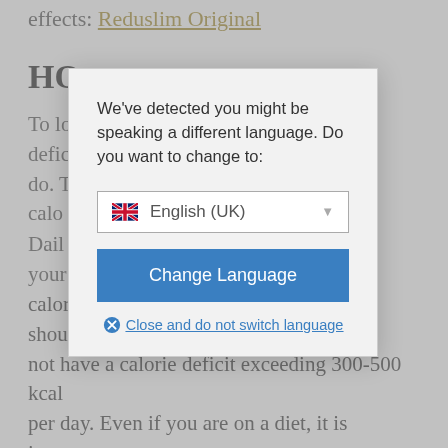effects: Reduslim Original
HO
To lo... rie defic... you do. T... calo...
Dail... e your... calorie intake by changing your diet. You should not have a calorie deficit exceeding 300-500 kcal per day. Even if you are on a diet, it is important to eat a healthy and balanced diet. Shape Shake 2.0* meal substitute helps you to cut calories
[Figure (screenshot): Language selection modal dialog with message 'We've detected you might be speaking a different language. Do you want to change to:' with a dropdown showing English (UK) with UK flag, a blue 'Change Language' button, and a 'Close and do not switch language' link.]